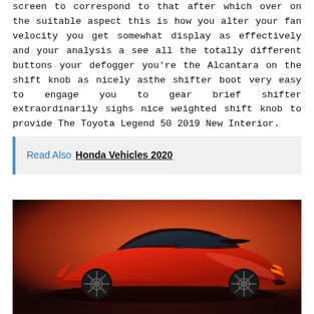screen to correspond to that after which over on the suitable aspect this is how you alter your fan velocity you get somewhat display as effectively and your analysis a see all the totally different buttons your defogger you're the Alcantara on the shift knob as nicely asthe shifter boot very easy to engage you to gear brief shifter extraordinarily sighs nice weighted shift knob to provide The Toyota Legend 50 2019 New Interior.
Read Also  Honda Vehicles 2020
[Figure (photo): A red sports car (Toyota Supra) photographed from the rear three-quarter angle in a studio with an orange/amber background.]